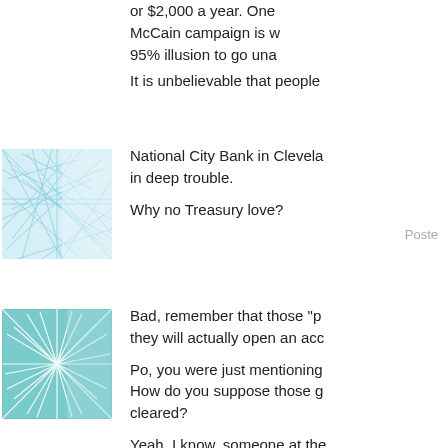or $2,000 a year. One McCain campaign is w 95% illusion to go una
It is unbelievable that people
[Figure (illustration): User avatar: abstract teal/light blue network lines pattern on white square background]
National City Bank in Cleveland in deep trouble.

Why no Treasury love?
Posted
[Figure (illustration): User avatar: abstract teal sunburst/starburst network lines pattern on white square background]
Bad, remember that those "p they will actually open an acc
Po, you were just mentioning How do you suppose those g cleared?
Yeah, I know, someone at the money, it doesn't actually, like or anything. That's just for Wa